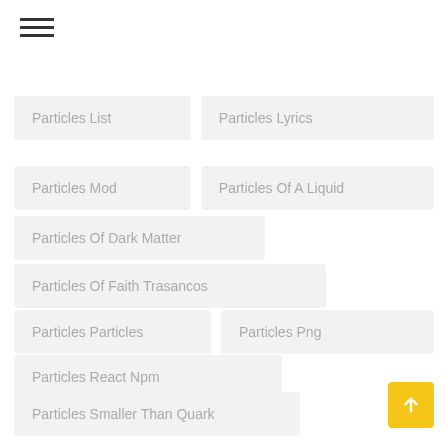☰ (hamburger menu icon)
Particles List
Particles Lyrics
Particles Mod
Particles Of A Liquid
Particles Of Dark Matter
Particles Of Faith Trasancos
Particles Particles
Particles Png
Particles React Npm
Particles Smaller Than Quark
Particles Synonym
Serums 76
Serums 101
Serums 2019